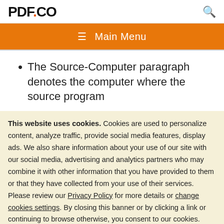PDF.CO
≡ Main Menu
The Source-Computer paragraph denotes the computer where the source program
This website uses cookies. Cookies are used to personalize content, analyze traffic, provide social media features, display ads. We also share information about your use of our site with our social media, advertising and analytics partners who may combine it with other information that you have provided to them or that they have collected from your use of their services. Please review our Privacy Policy for more details or change cookies settings. By closing this banner or by clicking a link or continuing to browse otherwise, you consent to our cookies.
OK